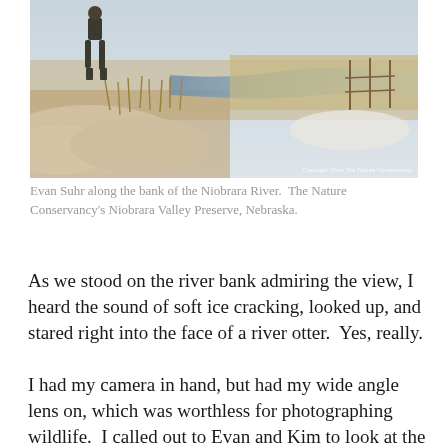[Figure (photo): Evan Suhr standing on the bank of the Niobrara River in winter, with snow, dry grass, and a partially frozen river visible. The Nature Conservancy's Niobrara Valley Preserve, Nebraska. Copyright watermark in lower right.]
Evan Suhr along the bank of the Niobrara River.  The Nature Conservancy's Niobrara Valley Preserve, Nebraska.
As we stood on the river bank admiring the view, I heard the sound of soft ice cracking, looked up, and stared right into the face of a river otter.  Yes, really.
I had my camera in hand, but had my wide angle lens on, which was worthless for photographing wildlife.  I called out to Evan and Kim to look at the otter and fumbled around in my camera bag for my longer lens.  Before I could get the lenses switched, the otter dipped back below